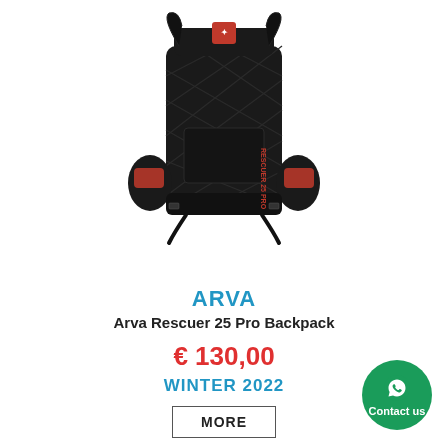[Figure (photo): Black and red Arva Rescuer 25 Pro Backpack shown from front view on white background]
ARVA
Arva Rescuer 25 Pro Backpack
€ 130,00
WINTER 2022
MORE
[Figure (illustration): Green circular WhatsApp Contact us badge in bottom right corner]